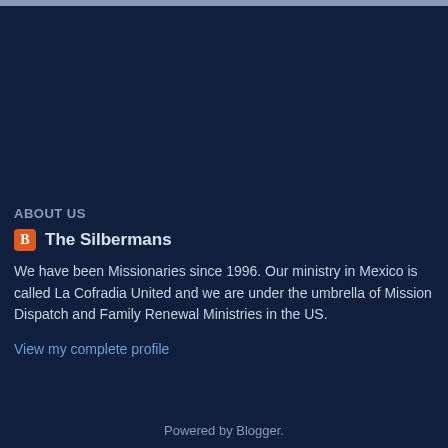ABOUT US
The Silbermans
We have been Missionaries since 1996. Our ministry in Mexico is called La Cofradia United and we are under the umbrella of Mission Dispatch and Family Renewal Ministries in the US.
View my complete profile
Powered by Blogger.